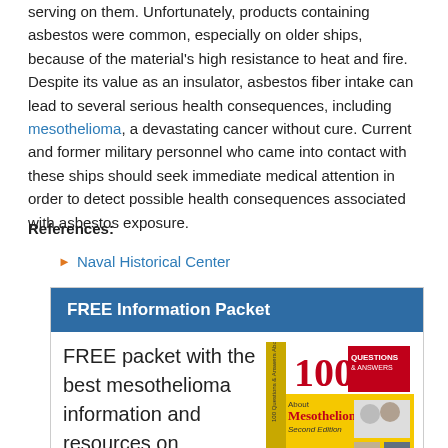serving on them. Unfortunately, products containing asbestos were common, especially on older ships, because of the material's high resistance to heat and fire. Despite its value as an insulator, asbestos fiber intake can lead to several serious health consequences, including mesothelioma, a devastating cancer without cure. Current and former military personnel who came into contact with these ships should seek immediate medical attention in order to detect possible health consequences associated with asbestos exposure.
References:
Naval Historical Center
[Figure (infographic): FREE Information Packet box with book cover showing '100 Questions & Answers About Mesothelioma Second Edition']